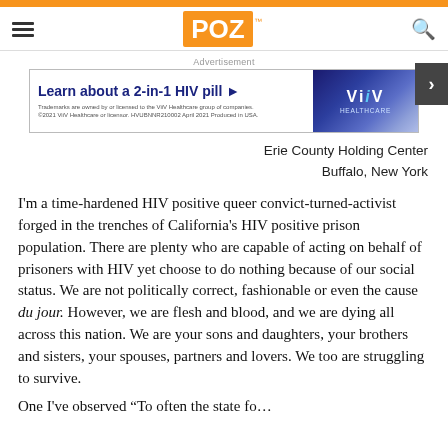POZ
[Figure (logo): ViiV Healthcare advertisement banner: 'Learn about a 2-in-1 HIV pill' with ViiV Healthcare logo]
Erie County Holding Center
Buffalo, New York
I'm a time-hardened HIV positive queer convict-turned-activist forged in the trenches of California's HIV positive prison population. There are plenty who are capable of acting on behalf of prisoners with HIV yet choose to do nothing because of our social status. We are not politically correct, fashionable or even the cause du jour. However, we are flesh and blood, and we are dying all across this nation. We are your sons and daughters, your brothers and sisters, your spouses, partners and lovers. We too are struggling to survive.